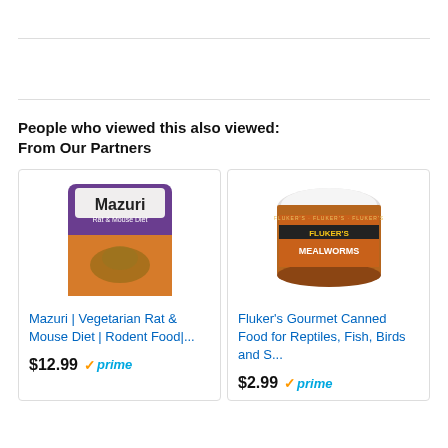People who viewed this also viewed:
From Our Partners
[Figure (photo): Mazuri Rat & Mouse Diet bag product image]
Mazuri | Vegetarian Rat & Mouse Diet | Rodent Food|...
$12.99 prime
[Figure (photo): Fluker's Gourmet Canned Mealworms product image]
Fluker's Gourmet Canned Food for Reptiles, Fish, Birds and S...
$2.99 prime